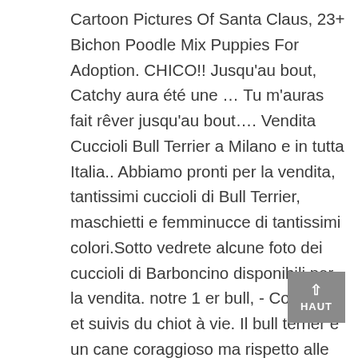Cartoon Pictures Of Santa Claus, 23+ Bichon Poodle Mix Puppies For Adoption. CHICO!! Jusqu'au bout, Catchy aura été une … Tu m'auras fait rêver jusqu'au bout…. Vendita Cuccioli Bull Terrier a Milano e in tutta Italia.. Abbiamo pronti per la vendita, tantissimi cuccioli di Bull Terrier, maschietti e femminucce di tantissimi colori.Sotto vedrete alcune foto dei cuccioli di Barboncino disponibili per la vendita. notre 1 er bull, - Conseils et suivis du chiot à vie. Il bull terrier è un cane coraggioso ma rispetto alle altre tipologie di terrier e di bull è caratterizzato da un temperamento calmo che si adatta bene alla vita in famiglia e ai bambini, anche se rimane comunque un cane con caratteristiche tali da aver bisogno di un proprietario che lo sappia